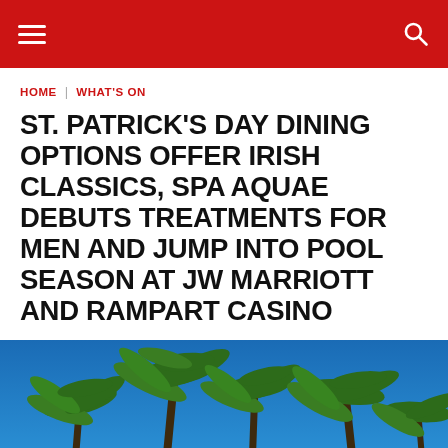HOME | WHAT'S ON
ST. PATRICK'S DAY DINING OPTIONS OFFER IRISH CLASSICS, SPA AQUAE DEBUTS TREATMENTS FOR MEN AND JUMP INTO POOL SEASON AT JW MARRIOTT AND RAMPART CASINO
[Figure (photo): Looking up at tall palm trees against a bright blue sky, with the top of a building visible at the lower right corner.]